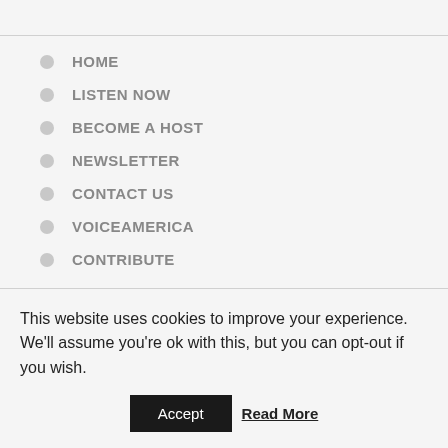HOME
LISTEN NOW
BECOME A HOST
NEWSLETTER
CONTACT US
VOICEAMERICA
CONTRIBUTE
This website uses cookies to improve your experience. We'll assume you're ok with this, but you can opt-out if you wish.
Accept  Read More